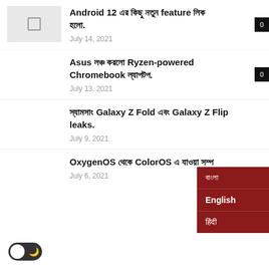Android 12 এর কিছু নতুন feature লিক হলো. July 14, 2021
Asus লঞ্চ করলো Ryzen-powered Chromebook ল্যাপটপ. July 13, 2021
স্যামসাং Galaxy Z Fold এবং Galaxy Z Flip leaks. July 9, 2021
OxygenOS থেকে ColorOS এ যাওয়া সম্পর্কে জানা. July 6, 2021
[Figure (screenshot): Dark mode toggle switch (dark/light mode) at bottom left]
[Figure (screenshot): Language selection dropdown with options in Bengali, English, and another language on dark red background]